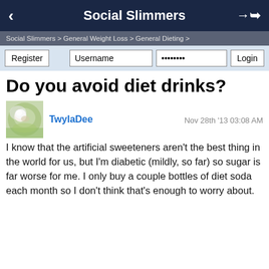Social Slimmers
Social Slimmers > General Weight Loss > General Dieting >
Register  Username  ········  Login
Do you avoid diet drinks?
TwylaDee  Nov 28th '13 03:08 AM
I know that the artificial sweeteners aren't the best thing in the world for us, but I'm diabetic (mildly, so far) so sugar is far worse for me. I only buy a couple bottles of diet soda each month so I don't think that's enough to worry about.